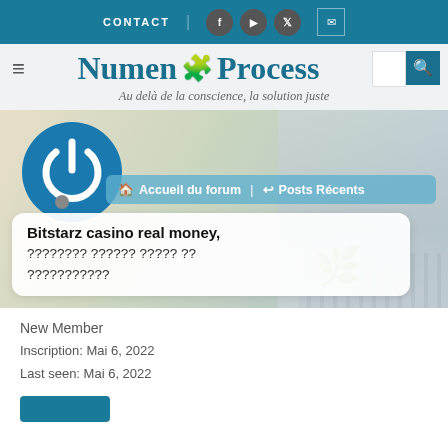CONTACT | f | ▶ | 🐦 | ✉
Numen 🧩 Process
Au delà de la conscience, la solution juste
[Figure (screenshot): Forum banner with power button logo, navigation bar showing Accueil du forum and Posts Récents, and a post card showing Bitstarz casino real money, ???????? ?????? ????? ?? ???????????, with office/desk background]
New Member
Inscription: Mai 6, 2022
Last seen: Mai 6, 2022